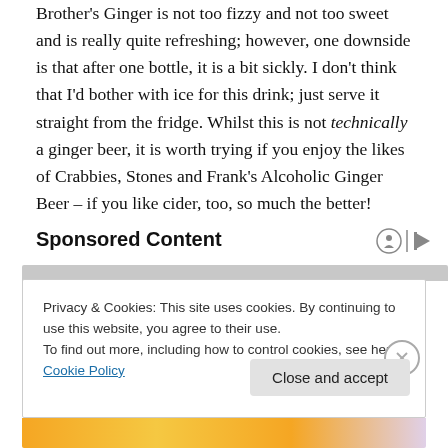Brother's Ginger is not too fizzy and not too sweet and is really quite refreshing; however, one downside is that after one bottle, it is a bit sickly. I don't think that I'd bother with ice for this drink; just serve it straight from the fridge. Whilst this is not technically a ginger beer, it is worth trying if you enjoy the likes of Crabbies, Stones and Frank's Alcoholic Ginger Beer – if you like cider, too, so much the better!
Sponsored Content
Privacy & Cookies: This site uses cookies. By continuing to use this website, you agree to their use.
To find out more, including how to control cookies, see here: Cookie Policy